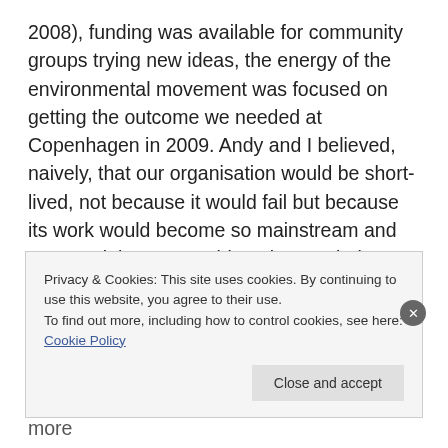2008), funding was available for community groups trying new ideas, the energy of the environmental movement was focused on getting the outcome we needed at Copenhagen in 2009. Andy and I believed, naively, that our organisation would be short-lived, not because it would fail but because its work would become so mainstream and accepted that we would not be needed. Ten years on it is tempting to focus on what has gone wrong – the failure at Copenhagen, the retreat by the UK government from deep engagement with the issue, the seemingly inexorable rise in carbon emissions, and more
Privacy & Cookies: This site uses cookies. By continuing to use this website, you agree to their use.
To find out more, including how to control cookies, see here: Cookie Policy
Close and accept